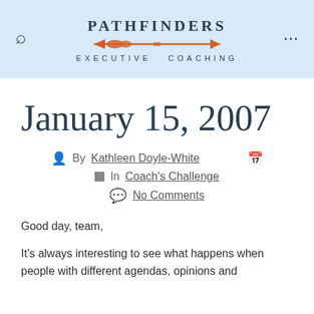PATHFINDERS EXECUTIVE COACHING
January 15, 2007
By Kathleen Doyle-White
In Coach's Challenge
No Comments
Good day, team,
It's always interesting to see what happens when people with different agendas, opinions and